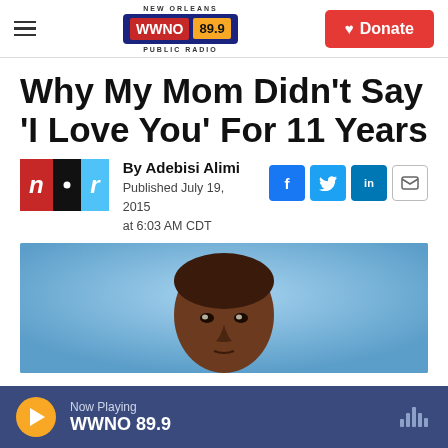WWNO 89.9 NEW ORLEANS PUBLIC RADIO — Donate
Why My Mom Didn't Say 'I Love You' For 11 Years
By Adebisi Alimi
Published July 19, 2015 at 6:03 AM CDT
[Figure (photo): Portrait photo of a man against a light blue background]
Now Playing WWNO 89.9